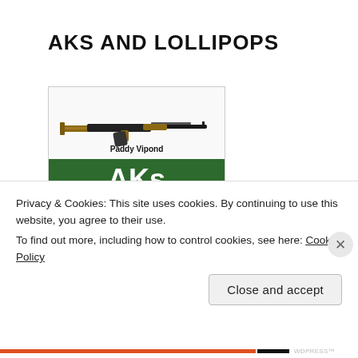AKS AND LOLLIPOPS
[Figure (illustration): Book cover for 'AKs and Lollipops' by Paddy Vipond. Shows an AK-47 rifle at the top, the author name 'Paddy Vipond', then a stylized Syrian rebel flag background with large white bold text reading 'AKs' (green band), 'and' (center with two red stars flanking), 'Lollipops' (dark band), and at the bottom 'Inside The' with three colored circles (green, yellow, red).]
Privacy & Cookies: This site uses cookies. By continuing to use this website, you agree to their use.
To find out more, including how to control cookies, see here: Cookie Policy